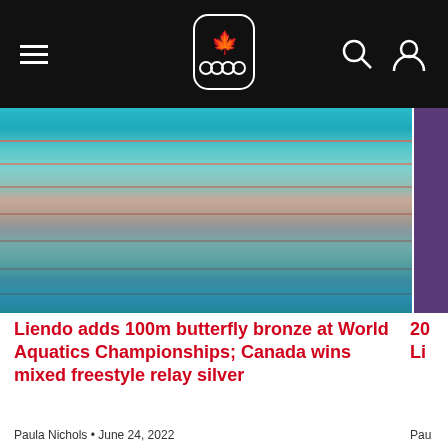Canadian Olympic Committee navigation header
[Figure (photo): Swimming pool overhead view with lane lines, teal/cyan water colors]
Liendo adds 100m butterfly bronze at World Aquatics Championships; Canada wins mixed freestyle relay silver
Paula Nichols • June 24, 2022
VIEW ALL STORIES
Related Athletes